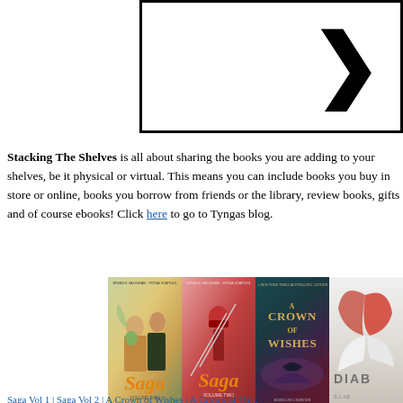[Figure (other): Navigation box with right-pointing chevron arrow on white background with thick black border]
Stacking The Shelves is all about sharing the books you are adding to your shelves, be it physical or virtual. This means you can include books you buy in store or online, books you borrow from friends or the library, review books, gifts and of course ebooks! Click here to go to Tyngas blog.
[Figure (photo): Four book covers displayed side by side: Saga Vol 1, Saga Vol 2, A Crown of Wishes, and a partially visible book (Diablo/The Diabolical)]
Saga Vol 1 | Saga Vol 2 | A Crown of Wishes | A Crown of (Wishes)